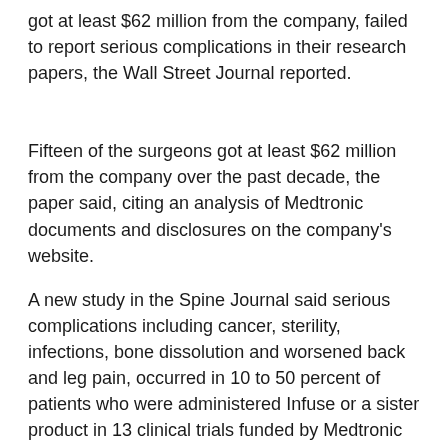got at least $62 million from the company, failed to report serious complications in their research papers, the Wall Street Journal reported.
Fifteen of the surgeons got at least $62 million from the company over the past decade, the paper said, citing an analysis of Medtronic documents and disclosures on the company's website.
A new study in the Spine Journal said serious complications including cancer, sterility, infections, bone dissolution and worsened back and leg pain, occurred in 10 to 50 percent of patients who were administered Infuse or a sister product in 13 clinical trials funded by Medtronic and conducted by the surgeons between 2000 and 2010, the Wall Street Journal said.